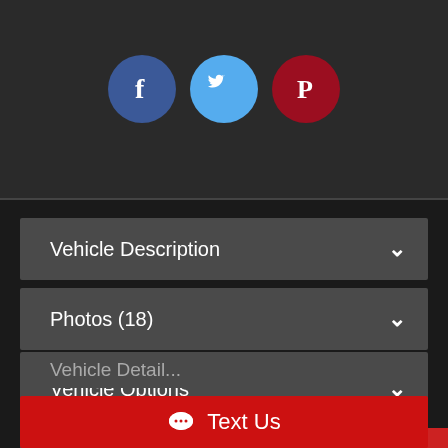[Figure (infographic): Social media share icons: Facebook (blue circle), Twitter (light blue circle), Pinterest (dark red circle)]
Vehicle Description ∨
Photos (18) ∨
Vehicle Options ∨
CarStory® ∧
Vehicle Detail...
Text Us